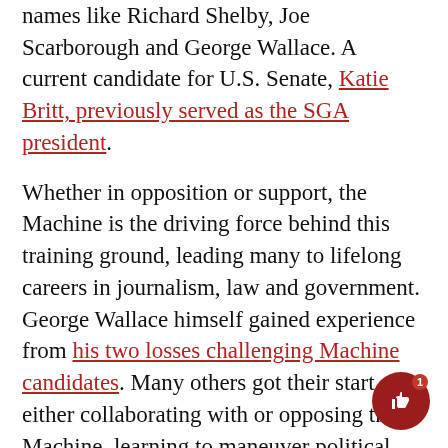names like Richard Shelby, Joe Scarborough and George Wallace. A current candidate for U.S. Senate, Katie Britt, previously served as the SGA president.
Whether in opposition or support, the Machine is the driving force behind this training ground, leading many to lifelong careers in journalism, law and government. George Wallace himself gained experience from his two losses challenging Machine candidates. Many others got their start either collaborating with or opposing the Machine, learning to maneuver political factions and run basic campaigns.
The relationship between the SGA and the “real world” isn’t limited to campaigning. Many of the federal government’s “playground politics” have reached the student government level.
This is evident every Thursday at 6:30 p.m. in the